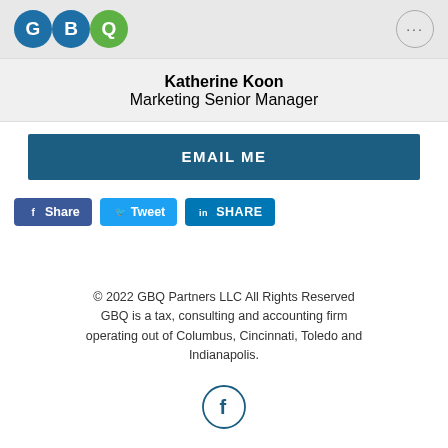[Figure (logo): GBQ logo with three colored circles: G (blue), B (blue), Q (green)]
Katherine Koon
Marketing Senior Manager
EMAIL ME
[Figure (infographic): Social share buttons: Facebook Share, Twitter Tweet, LinkedIn SHARE]
© 2022 GBQ Partners LLC All Rights Reserved GBQ is a tax, consulting and accounting firm operating out of Columbus, Cincinnati, Toledo and Indianapolis.
[Figure (logo): Facebook circle icon at bottom of page]